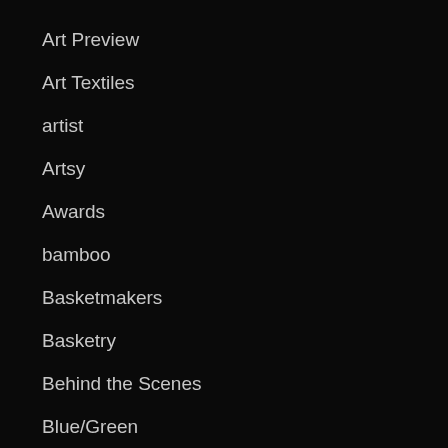Art Preview
Art Textiles
artist
Artsy
Awards
bamboo
Basketmakers
Basketry
Behind the Scenes
Blue/Green
Book Recommendations
Books
Catalogs